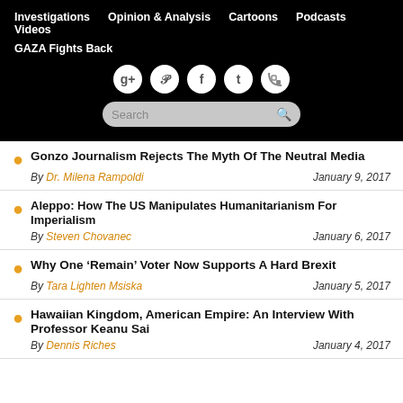Investigations   Opinion & Analysis   Cartoons   Podcasts   Videos   GAZA Fights Back
Gonzo Journalism Rejects The Myth Of The Neutral Media
By Dr. Milena Rampoldi   January 9, 2017
Aleppo: How The US Manipulates Humanitarianism For Imperialism
By Steven Chovanec   January 6, 2017
Why One ‘Remain’ Voter Now Supports A Hard Brexit
By Tara Lighten Msiska   January 5, 2017
Hawaiian Kingdom, American Empire: An Interview With Professor Keanu Sai
By Dennis Riches   January 4, 2017